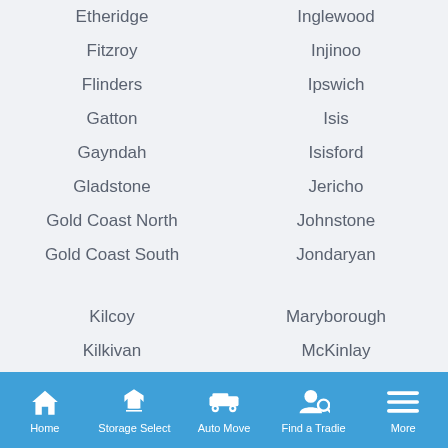Etheridge
Inglewood
Fitzroy
Injinoo
Flinders
Ipswich
Gatton
Isis
Gayndah
Isisford
Gladstone
Jericho
Gold Coast North
Johnstone
Gold Coast South
Jondaryan
Kilcoy
Maryborough
Kilkivan
McKinlay
Home  Storage Select  Auto Move  Find a Tradie  More